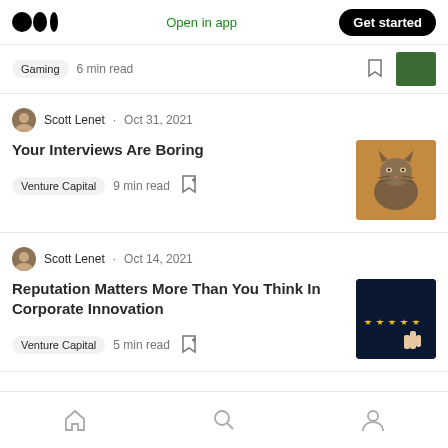Medium logo | Open in app | Get started
Gaming · 6 min read
Scott Lenet · Oct 31, 2021
Your Interviews Are Boring
Venture Capital · 9 min read
[Figure (photo): A tabby cat sitting on an orange background]
Scott Lenet · Oct 14, 2021
Reputation Matters More Than You Think In Corporate Innovation
Venture Capital · 5 min read
[Figure (photo): Five yellow stars on a dark blue background with a hand pointing]
Home | Search | Profile